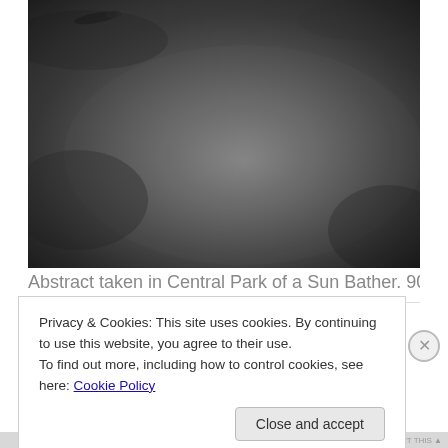[Figure (photo): Black and white photograph of a grassy field in Central Park with a person (sun bather) lying on the grass in the upper left area, taken with 90mm 2.8 lens]
Abstract taken in Central Park of a Sun Bather. 90 mm 2.8
Privacy & Cookies: This site uses cookies. By continuing to use this website, you agree to their use.
To find out more, including how to control cookies, see here: Cookie Policy
Close and accept